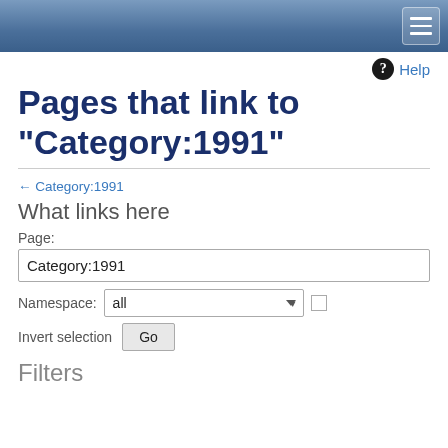Navigation menu header bar
Help
Pages that link to "Category:1991"
← Category:1991
What links here
Page:
Category:1991
Namespace: all
Invert selection  Go
Filters